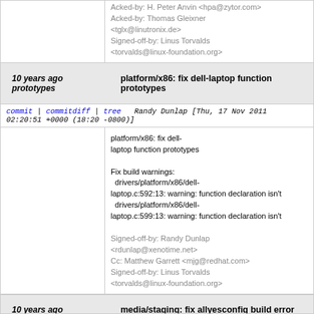Acked-by: H. Peter Anvin <hpa@zytor.com>
Acked-by: Thomas Gleixner <tglx@linutronix.de>
Signed-off-by: Linus Torvalds <torvalds@linux-foundation.org>
10 years ago prototypes   platform/x86: fix dell-laptop function prototypes
commit | commitdiff | tree   Randy Dunlap [Thu, 17 Nov 2011 02:20:51 +0000 (18:20 -0800)]
platform/x86: fix dell-laptop function prototypes

Fix build warnings:
  drivers/platform/x86/dell-laptop.c:592:13: warning: function declaration isn't
  drivers/platform/x86/dell-laptop.c:599:13: warning: function declaration isn't

Signed-off-by: Randy Dunlap <rdunlap@xenotime.net>
Cc: Matthew Garrett <mjg@redhat.com>
Signed-off-by: Linus Torvalds <torvalds@linux-foundation.org>
10 years ago   media/staging: fix allyesconfig build error
commit | commitdiff | tree   Randy Dunlap [Thu, 17 Nov 2011 02:17:03 +0000 (18:17 -0800)]